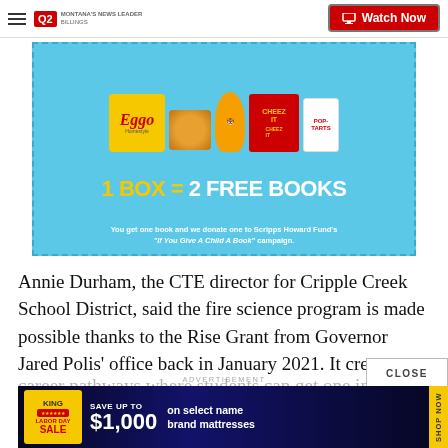Q2 Montana's News Leader | Watch Now
[Figure (photo): Kellogg's advertisement showing Eggo waffles, Tony the Tiger mascot, Cheez-It and Pop-Tarts boxes. Text reads: 1 BOX = 2 FREE BOOKS. You get one book and we donate one to Scripps Howard Fund's "If You Give A Child A Book" campaign.]
Annie Durham, the CTE director for Cripple Creek School District, said the fire science program is made possible thanks to the Rise Grant from Governor Jared Polis' office back in January 2021. It creates sever career pathways where students can get one industry certifications and college credits at no cost to students of no
[Figure (screenshot): Bottom advertisement: King Mattress Labor Day Sale - Save up to $1,000 on select name brand mattresses. Shop Now button on right side.]